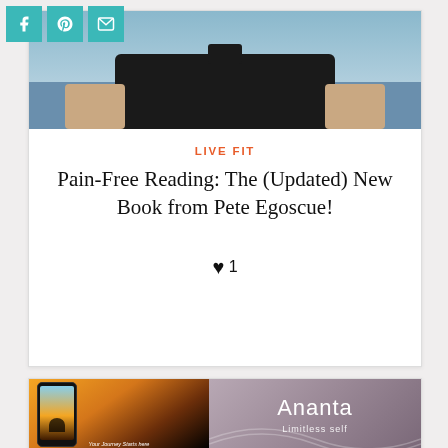[Figure (screenshot): Social sharing icons: Facebook (f), Pinterest (p), and email/envelope icons in teal squares]
[Figure (photo): Partial photo of a person in a dark shirt, cropped at torso level with blue sky background]
LIVE FIT
Pain-Free Reading: The (Updated) New Book from Pete Egoscue!
♥ 1
[Figure (screenshot): App screenshot showing a meditation/yoga app with a phone displaying a sunrise scene and Ananta branding with text 'Limitless self' and 'Your Journey Starts here']